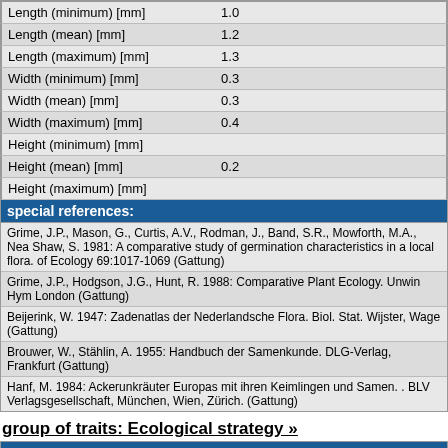| Property | Value |
| --- | --- |
| Length (minimum) [mm] | 1.0 |
| Length (mean) [mm] | 1.2 |
| Length (maximum) [mm] | 1.3 |
| Width (minimum) [mm] | 0.3 |
| Width (mean) [mm] | 0.3 |
| Width (maximum) [mm] | 0.4 |
| Height (minimum) [mm] |  |
| Height (mean) [mm] | 0.2 |
| Height (maximum) [mm] |  |
special references:
Grime, J.P., Mason, G., Curtis, A.V., Rodman, J., Band, S.R., Mowforth, M.A., Nea Shaw, S. 1981: A comparative study of germination characteristics in a local flora. of Ecology 69:1017-1069 (Gattung)
Grime, J.P., Hodgson, J.G., Hunt, R. 1988: Comparative Plant Ecology. Unwin Hym London (Gattung)
Beijerink, W. 1947: Zadenatlas der Nederlandsche Flora. Biol. Stat. Wijster, Wage (Gattung)
Brouwer, W., Stählin, A. 1955: Handbuch der Samenkunde. DLG-Verlag, Frankfurt (Gattung)
Hanf, M. 1984: Ackerunkräuter Europas mit ihren Keimlingen und Samen. . BLV Verlagsgesellschaft, München, Wien, Zürich. (Gattung)
group of traits: Ecological strategy »
Strategy type »
| Property | Value |
| --- | --- |
| Strategy type | csr (competitors/stress-tolerators/ruderals |
group of traits: Range »